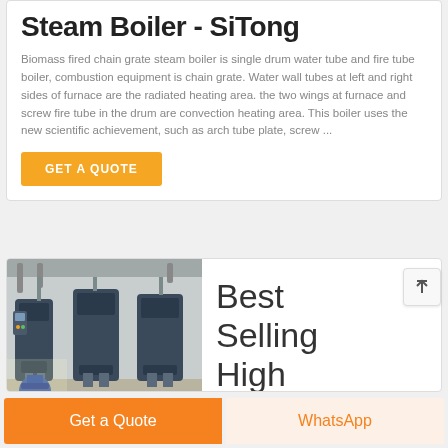Steam Boiler - SiTong
Biomass fired chain grate steam boiler is single drum water tube and fire tube boiler, combustion equipment is chain grate. Water wall tubes at left and right sides of furnace are the radiated heating area. the two wings at furnace and screw fire tube in the drum are convection heating area. This boiler uses the new scientific achievement, such as arch tube plate, screw ...
GET A QUOTE
[Figure (photo): Industrial boiler room with multiple large blue boiler units installed inside a white-walled facility]
Best Selling High
Get a Quote
WhatsApp